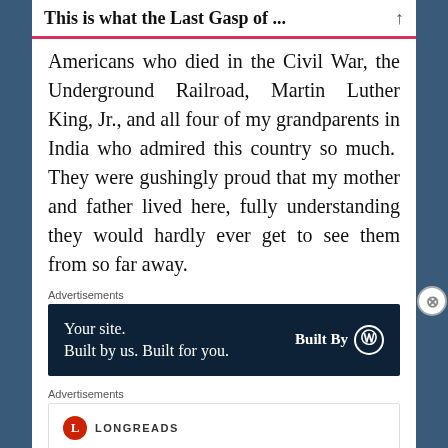This is what the Last Gasp of ...
Americans who died in the Civil War, the Underground Railroad, Martin Luther King, Jr., and all four of my grandparents in India who admired this country so much. They were gushingly proud that my mother and father lived here, fully understanding they would hardly ever get to see them from so far away.
Advertisements
[Figure (screenshot): Dark navy advertisement banner: 'Your site. Built by us. Built for you.' with WordPress 'Built By' logo on right]
Advertisements
[Figure (screenshot): Longreads advertisement: circular red 'L' logo, LONGREADS text, tagline 'Bringing you the best stories on the web since 2009.']